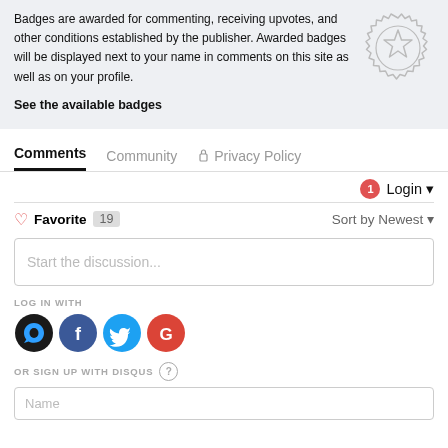Badges are awarded for commenting, receiving upvotes, and other conditions established by the publisher. Awarded badges will be displayed next to your name in comments on this site as well as on your profile.
See the available badges
[Figure (illustration): Badge icon: a circular seal with a star in the center, rendered in light gray outline style]
Comments   Community   Privacy Policy
1   Login
Favorite  19    Sort by Newest
Start the discussion...
LOG IN WITH
[Figure (logo): Social login icons: Disqus (black circle), Facebook (blue circle), Twitter (cyan circle), Google (red circle)]
OR SIGN UP WITH DISQUS ?
Name